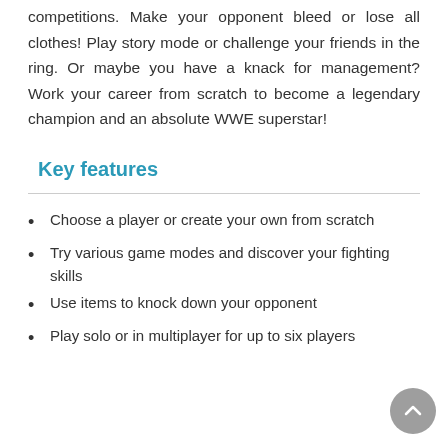competitions. Make your opponent bleed or lose all clothes! Play story mode or challenge your friends in the ring. Or maybe you have a knack for management? Work your career from scratch to become a legendary champion and an absolute WWE superstar!
Key features
Choose a player or create your own from scratch
Try various game modes and discover your fighting skills
Use items to knock down your opponent
Play solo or in multiplayer for up to six players